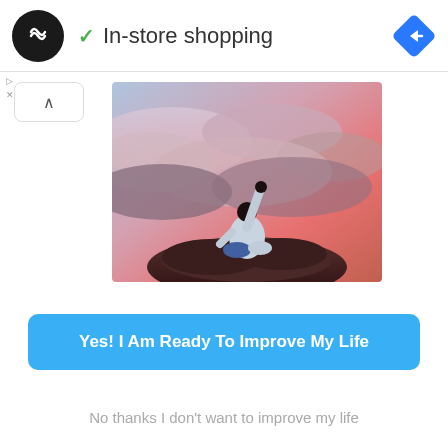In-store shopping
[Figure (photo): Person sitting on a rock with fist raised in the air against a pink cloudy sky background]
Yes! I Am Ready To Improve My Life
No thanks I don't want to improve my life